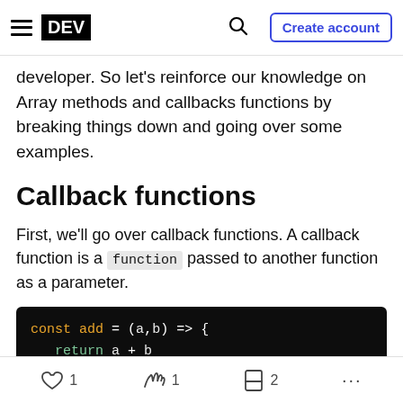DEV | Create account
developer. So let's reinforce our knowledge on Array methods and callbacks functions by breaking things down and going over some examples.
Callback functions
First, we'll go over callback functions. A callback function is a function passed to another function as a parameter.
[Figure (screenshot): Code block showing: const add = (a,b) => { return a + b } function multiply(a,b) {]
1  1  2  ...